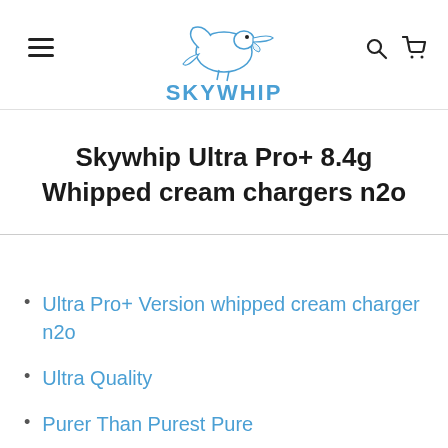SKYWHIP — navigation header with hamburger menu, logo, search and cart icons
Skywhip Ultra Pro+ 8.4g Whipped cream chargers n2o
Ultra Pro+ Version whipped cream charger n2o
Ultra Quality
Purer Than Purest Pure